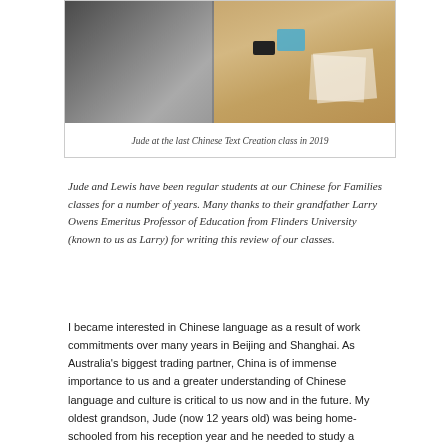[Figure (photo): Photo of Jude at the last Chinese Text Creation class in 2019, showing students seated around a table with papers and stationery]
Jude at the last Chinese Text Creation class in 2019
Jude and Lewis have been regular students at our Chinese for Families classes for a number of years. Many thanks to their grandfather Larry Owens Emeritus Professor of Education from Flinders University (known to us as Larry) for writing this review of our classes.
I became interested in Chinese language as a result of work commitments over many years in Beijing and Shanghai. As Australia's biggest trading partner, China is of immense importance to us and a greater understanding of Chinese language and culture is critical to us now and in the future. My oldest grandson, Jude (now 12 years old) was being home-schooled from his reception year and he needed to study a language as a part of his approved Australian curriculum.